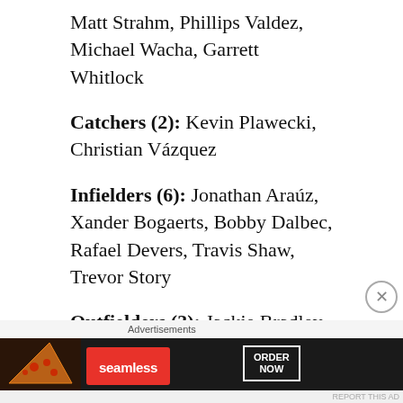Matt Strahm, Phillips Valdez, Michael Wacha, Garrett Whitlock
Catchers (2): Kevin Plawecki, Christian Vázquez
Infielders (6): Jonathan Araúz, Xander Bogaerts, Bobby Dalbec, Rafael Devers, Travis Shaw, Trevor Story
Outfielders (3): Jackie Bradley Jr., J.D. Martinez, Alex Verdugo
Infielder/Outfielder (1): Christian A...
[Figure (other): Seamless food delivery advertisement banner with pizza image, Seamless logo in red, and ORDER NOW button]
Advertisements